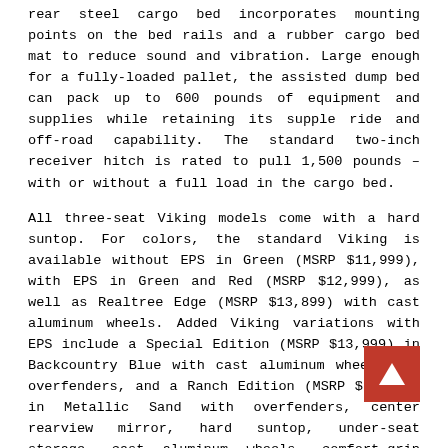rear steel cargo bed incorporates mounting points on the bed rails and a rubber cargo bed mat to reduce sound and vibration. Large enough for a fully-loaded pallet, the assisted dump bed can pack up to 600 pounds of equipment and supplies while retaining its supple ride and off-road capability. The standard two-inch receiver hitch is rated to pull 1,500 pounds – with or without a full load in the cargo bed.
All three-seat Viking models come with a hard suntop. For colors, the standard Viking is available without EPS in Green (MSRP $11,999), with EPS in Green and Red (MSRP $12,999), as well as Realtree Edge (MSRP $13,899) with cast aluminum wheels. Added Viking variations with EPS include a Special Edition (MSRP $13,999) in Backcountry Blue with cast aluminum wheels and overfenders, and a Ranch Edition (MSRP $14,199) in Metallic Sand with overfenders, center rearview mirror, hard suntop, under-seat storage, cast aluminum wheels, comfort-grip steering wheel, color-matched seats, and unique Ranch Edition badging.